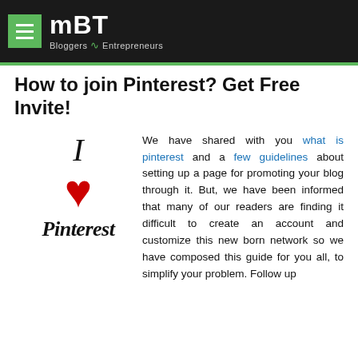MBT Bloggers Entrepreneurs
How to join Pinterest? Get Free Invite!
[Figure (logo): I Love Pinterest logo — letter I, red heart, and Pinterest script text]
We have shared with you what is pinterest and a few guidelines about setting up a page for promoting your blog through it. But, we have been informed that many of our readers are finding it difficult to create an account and customize this new born network so we have composed this guide for you all, to simplify your problem. Follow up